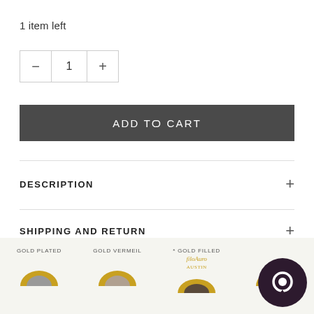1 item left
[Figure (other): Quantity selector with minus button, number 1, and plus button]
ADD TO CART
DESCRIPTION
SHIPPING AND RETURN
[Figure (infographic): Bottom bar showing gold type comparison: GOLD PLATED, GOLD VERMEIL, * GOLD FILLED with script logo and colored circular swatches, plus chat bubble icon]